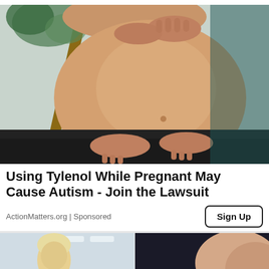[Figure (photo): Close-up photo of a pregnant woman's belly, hands resting on bump, wearing black pants and light top, wooden furniture and plant in background]
Using Tylenol While Pregnant May Cause Autism - Join the Lawsuit
ActionMatters.org | Sponsored
Sign Up
[Figure (photo): Two smaller advertisement images side by side at the bottom of the page]